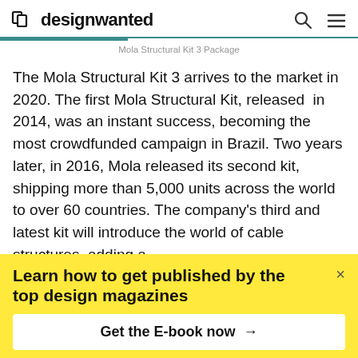designwanted
Mola Structural Kit 3 Package
The Mola Structural Kit 3 arrives to the market in 2020. The first Mola Structural Kit, released in 2014, was an instant success, becoming the most crowdfunded campaign in Brazil. Two years later, in 2016, Mola released its second kit, shipping more than 5,000 units across the world to over 60 countries. The company’s third and latest kit will introduce the world of cable structures, adding a
Learn how to get published by the top design magazines
Get the E-book now →